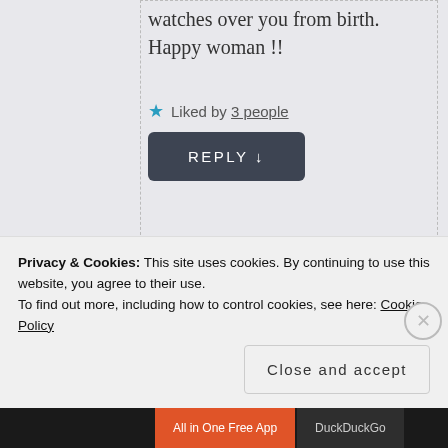watches over you from birth. Happy woman !!
★ Liked by 3 people
REPLY ↓
Laleh Chini
August 29, 2018 · 3:20 pm
Privacy & Cookies: This site uses cookies. By continuing to use this website, you agree to their use. To find out more, including how to control cookies, see here: Cookie Policy
Close and accept
All in One Free App   DuckDuckGo